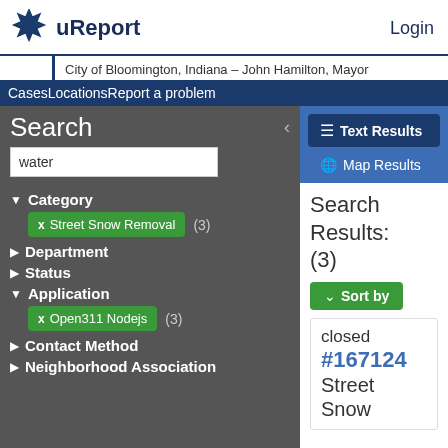uReport  Login
City of Bloomington, Indiana – John Hamilton, Mayor
CasesLocationsReport a problem
Search
water
Category
Street Snow Removal (3)
Department
Status
Application
Open311 Nodejs (3)
Contact Method
Neighborhood Association
Text Results
Map Results
Search Results: (3)
Sort by
closed #167124 Street Snow